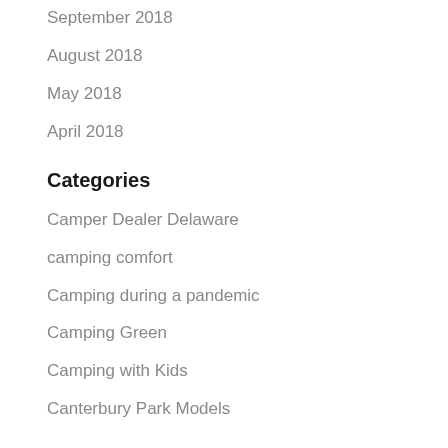September 2018
August 2018
May 2018
April 2018
Categories
Camper Dealer Delaware
camping comfort
Camping during a pandemic
Camping Green
Camping with Kids
Canterbury Park Models
Crossroads RV Zinger Travel Trailers
Delaware RV Camping
Destination Trailers